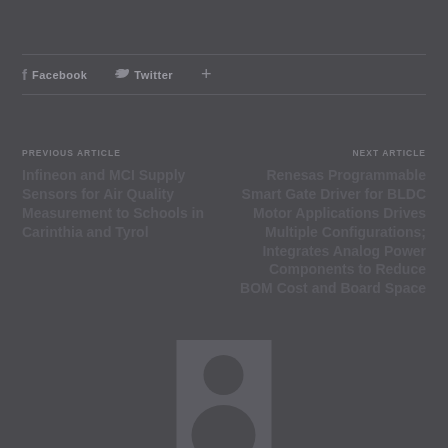Facebook  Twitter  +
PREVIOUS ARTICLE
Infineon and MCI Supply Sensors for Air Quality Measurement to Schools in Carinthia and Tyrol
NEXT ARTICLE
Renesas Programmable Smart Gate Driver for BLDC Motor Applications Drives Multiple Configurations; Integrates Analog Power Components to Reduce BOM Cost and Board Space
[Figure (photo): Avatar/profile image placeholder showing a person silhouette]